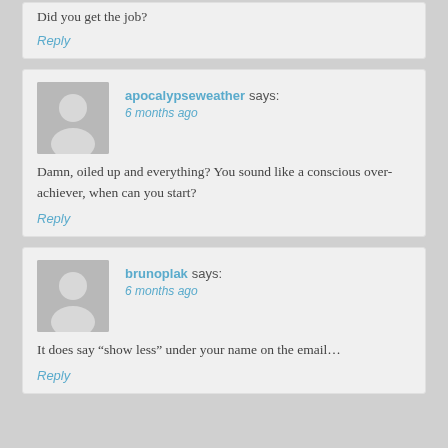Did you get the job?
Reply
apocalypseweather says: 6 months ago
Damn, oiled up and everything? You sound like a conscious over-achiever, when can you start?
Reply
brunoplak says: 6 months ago
It does say “show less” under your name on the email…
Reply